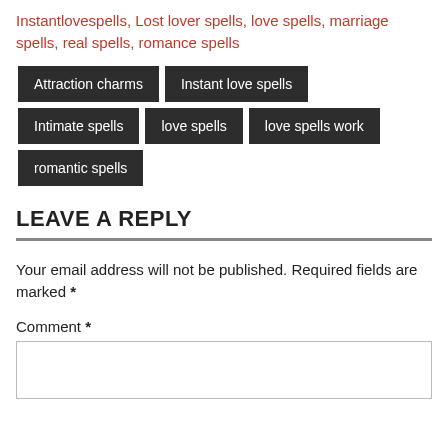Instantlovespells, Lost lover spells, love spells, marriage spells, real spells, romance spells
[Figure (other): Tag buttons: Attraction charms, Instant love spells, Intimate spells, love spells, love spells work, romantic spells]
LEAVE A REPLY
Your email address will not be published. Required fields are marked *
Comment *